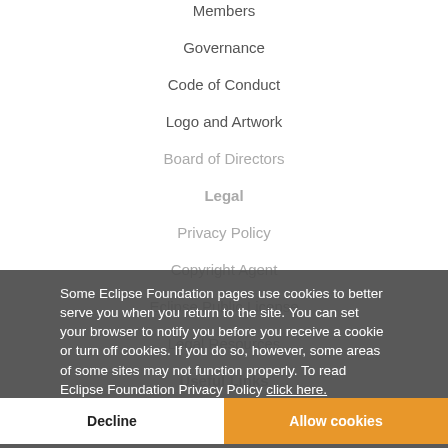Members
Governance
Code of Conduct
Logo and Artwork
Board of Directors
Legal
Privacy Policy
Copyright Agent
Eclipse Public License
Legal Resources
Some Eclipse Foundation pages use cookies to better serve you when you return to the site. You can set your browser to notify you before you receive a cookie or turn off cookies. If you do so, however, some areas of some sites may not function properly. To read Eclipse Foundation Privacy Policy click here.
Useful Links
Report a Bug